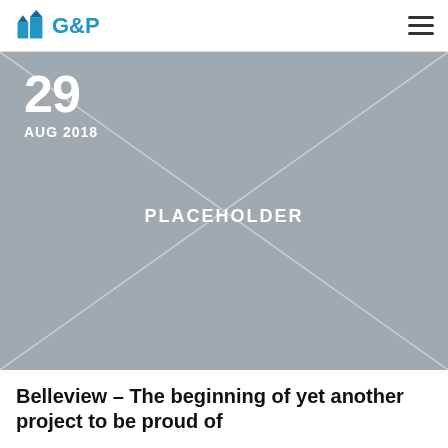G&P
[Figure (photo): Placeholder image with X diagonal lines and date overlay showing 29 AUG 2018]
Belleview – The beginning of yet another project to be proud of